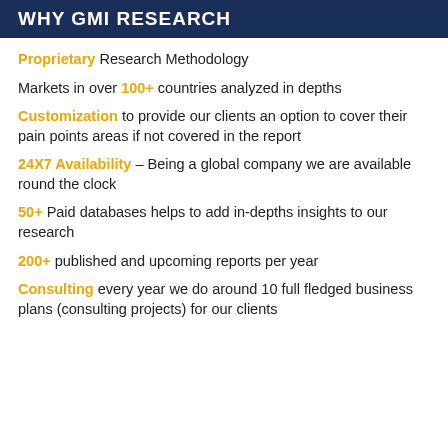WHY GMI RESEARCH
Proprietary Research Methodology
Markets in over 100+ countries analyzed in depths
Customization to provide our clients an option to cover their pain points areas if not covered in the report
24X7 Availability – Being a global company we are available round the clock
50+ Paid databases helps to add in-depths insights to our research
200+ published and upcoming reports per year
Consulting every year we do around 10 full fledged business plans (consulting projects) for our clients